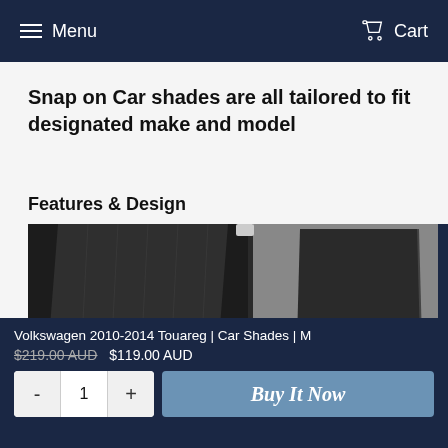Menu   Cart
Snap on Car shades are all tailored to fit designated make and model
Features & Design
[Figure (photo): Close-up photo of dark/black car window shades (snap-on type) fitted against a car window, shown from inside the vehicle.]
Volkswagen 2010-2014 Touareg | Car Shades | M   $219.00 AUD  $119.00 AUD   - 1 +   Buy It Now